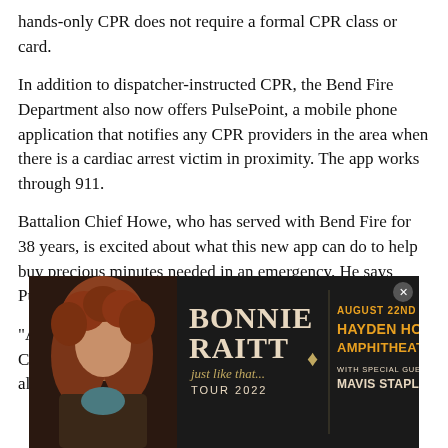hands-only CPR does not require a formal CPR class or card.
In addition to dispatcher-instructed CPR, the Bend Fire Department also now offers PulsePoint, a mobile phone application that notifies any CPR providers in the area when there is a cardiac arrest victim in proximity. The app works through 911.
Battalion Chief Howe, who has served with Bend Fire for 38 years, is excited about what this new app can do to help buy precious minutes needed in an emergency. He says PulsePoint can make everyone a first responder.
"A community filled with people willing to step up and do CPR to save a life is a caring community," he says, noting also that, "PulsePoint makes our entire
[Figure (photo): Advertisement banner for Bonnie Raitt 'Just Like That... Tour 2022' at Hayden Homes Amphitheater on August 22nd with special guest Mavis Staples. Features a photo of a woman with curly red hair on a dark background with cyan/orange text.]